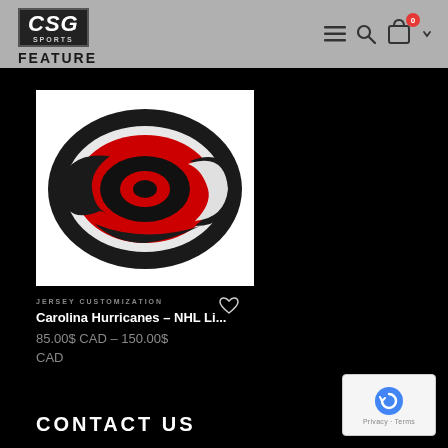CSG SPORTS FEATURE
[Figure (logo): Carolina Hurricanes NHL logo — a swirling hurricane eye design in red, black, and white on a white background square]
JERSEY CUSTOMIZATION
Carolina Hurricanes – NHL Li...
85.00$ CAD – 150.00$ CAD
CONTACT US
[Figure (screenshot): Google reCAPTCHA badge with Privacy and Terms links]